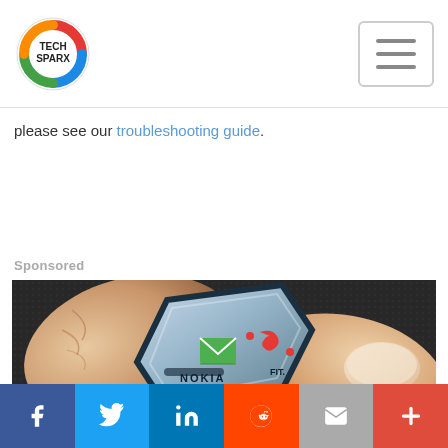Tech Sparx [logo] [hamburger menu]
please see our troubleshooting guide.
Sponsored
[Figure (photo): A Nokia FIT concept device (small silver gadget with green envelope and red phone icons) held between two fingers against a dark textured background]
Social share bar: Facebook, Twitter, LinkedIn, Reddit, Email, More